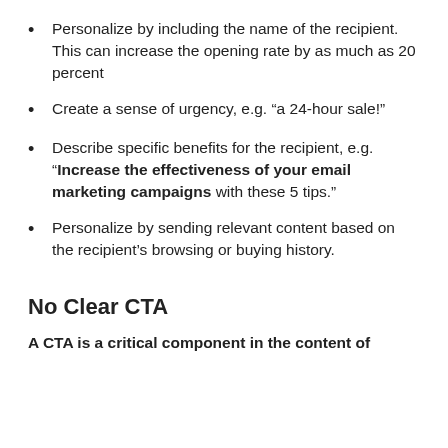Personalize by including the name of the recipient. This can increase the opening rate by as much as 20 percent
Create a sense of urgency, e.g. “a 24-hour sale!”
Describe specific benefits for the recipient, e.g. “Increase the effectiveness of your email marketing campaigns with these 5 tips.”
Personalize by sending relevant content based on the recipient’s browsing or buying history.
No Clear CTA
A CTA is a critical component in the content of